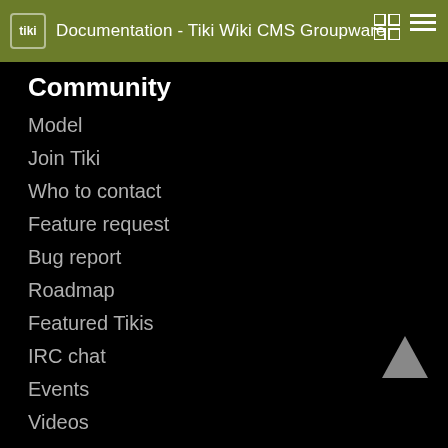Documentation - Tiki Wiki CMS Groupware
Community
Model
Join Tiki
Who to contact
Feature request
Bug report
Roadmap
Featured Tikis
IRC chat
Events
Videos
Get Started
Download
Install guide
Configure
Documentation